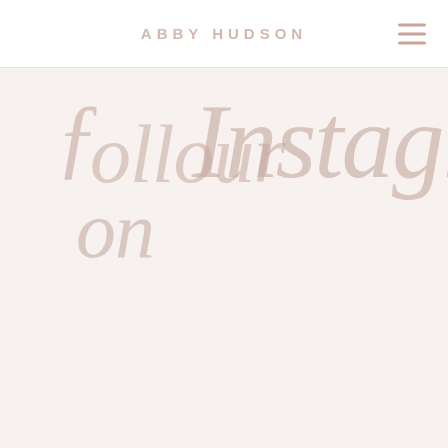ABBY HUDSON
[Figure (illustration): Decorative cursive/script text overlay reading 'Follow me on Instagram.' in light pinkish-beige handwritten script style, partially cropped at the top of the page content area]